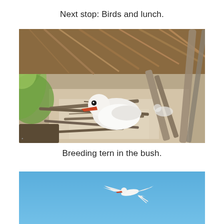Next stop: Birds and lunch.
[Figure (photo): A white breeding tern nesting on sandy ground surrounded by driftwood and dry straw/palm fronds, viewed through green foliage in the foreground.]
Breeding tern in the bush.
[Figure (photo): A white tern in flight against a bright blue sky, wings spread wide with a hint of red on the beak.]